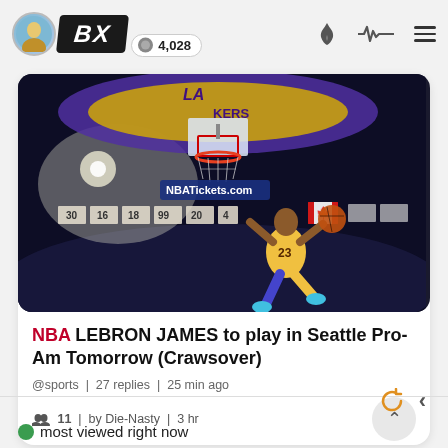BX  4,028
[Figure (photo): Basketball arena photo showing LeBron James #23 in Lakers yellow uniform dunking, with scoreboard banners and NBATickets.com sign visible]
NBA LEBRON JAMES to play in Seattle Pro-Am Tomorrow (Crawsover)
@sports | 27 replies | 25 min ago
11 | by Die-Nasty | 3 hr
most viewed right now